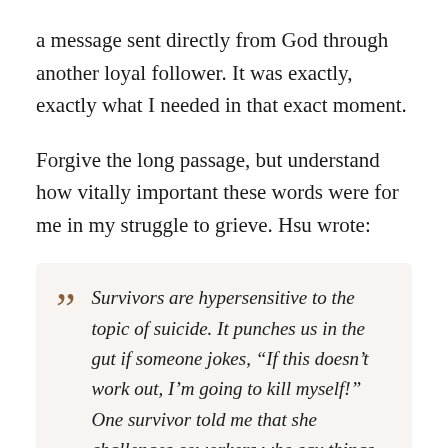a message sent directly from God through another loyal follower. It was exactly, exactly what I needed in that exact moment.
Forgive the long passage, but understand how vitally important these words were for me in my struggle to grieve. Hsu wrote:
Survivors are hypersensitive to the topic of suicide. It punches us in the gut if someone jokes, “If this doesn’t work out, I’m going to kill myself!” One survivor told me that she challenges coworkers who say things like that, asking them if